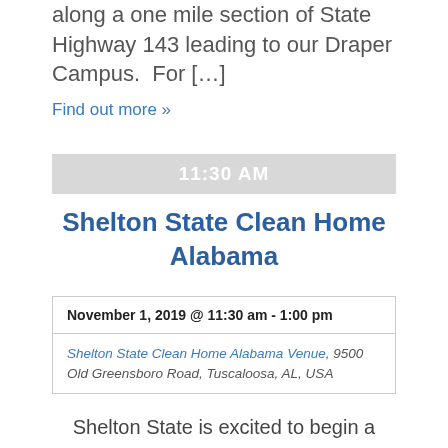along a one mile section of State Highway 143 leading to our Draper Campus.  For […]
Find out more »
11:30 AM
Shelton State Clean Home Alabama
| November 1, 2019 @ 11:30 am - 1:00 pm |
| Shelton State Clean Home Alabama Venue, 9500 Old Greensboro Road, Tuscaloosa, AL, USA |
Shelton State is excited to begin a